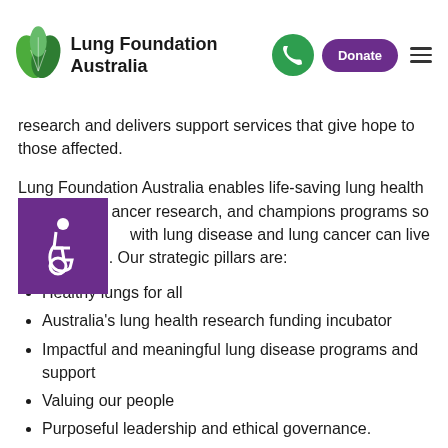[Figure (logo): Lung Foundation Australia logo with green leaf icon and text]
research and delivers support services that give hope to those affected.
Lung Foundation Australia enables life-saving lung health and cancer research, and champions programs so that Australians with lung disease and lung cancer can live their best life. Our strategic pillars are:
Healthy lungs for all
Australia's lung health research funding incubator
Impactful and meaningful lung disease programs and support
Valuing our people
Purposeful leadership and ethical governance.
The organisation relies on the generosity of the community